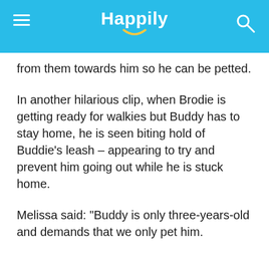Happily
from them towards him so he can be petted.
In another hilarious clip, when Brodie is getting ready for walkies but Buddy has to stay home, he is seen biting hold of Buddie’s leash – appearing to try and prevent him going out while he is stuck home.
Melissa said: “Buddy is only three-years-old and demands that we only pet him.